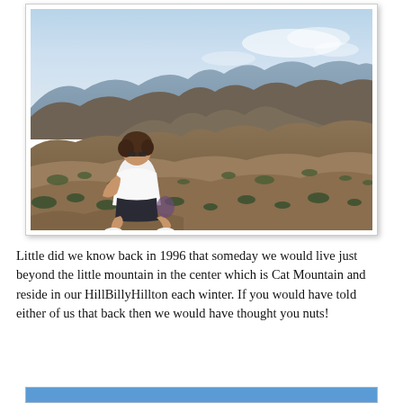[Figure (photo): A woman with sunglasses sitting on a mountain summit with a panoramic view of desert mountain ranges stretching into the hazy distance. She is wearing a white shirt and dark shorts, seated on rocky ground with sparse desert vegetation.]
Little did we know back in 1996 that someday we would live just beyond the little mountain in the center which is Cat Mountain and reside in our HillBillyHillton each winter. If you would have told either of us that back then we would have thought you nuts!
[Figure (photo): Bottom of image showing blue strip/banner partially visible]